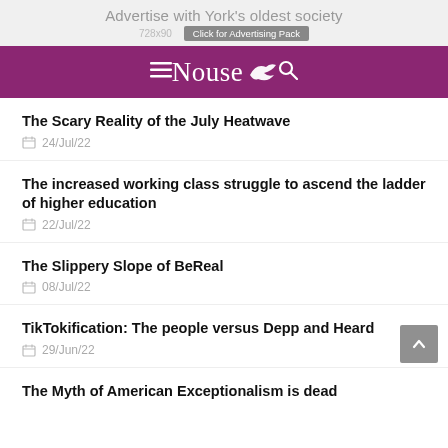[Figure (screenshot): Advertisement banner for York's oldest society, 728x90, with 'Click for Advertising Pack' button]
Nouse
The Scary Reality of the July Heatwave
24/Jul/22
The increased working class struggle to ascend the ladder of higher education
22/Jul/22
The Slippery Slope of BeReal
08/Jul/22
TikTokification: The people versus Depp and Heard
29/Jun/22
The Myth of American Exceptionalism is dead